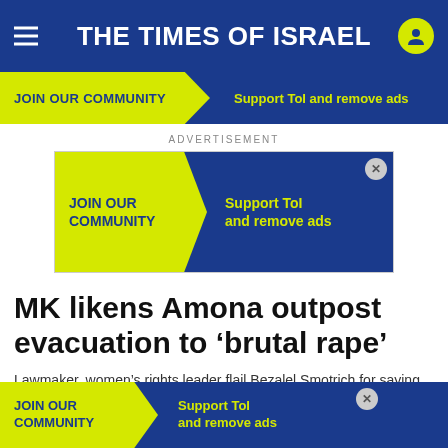THE TIMES OF ISRAEL
[Figure (infographic): Times of Israel top navigation banner with yellow 'JOIN OUR COMMUNITY' button and 'Support ToI and remove ads' text on blue background]
ADVERTISEMENT
[Figure (infographic): Advertisement banner: JOIN OUR COMMUNITY / Support ToI and remove ads on blue and yellow background]
MK likens Amona outpost evacuation to 'brutal rape'
Lawmaker, women's rights leader flail Bezalel Smotrich for saying removal of settlers is 'judicial tyranny'
By STUART
[Figure (infographic): Floating bottom ad: JOIN OUR COMMUNITY / Support ToI and remove ads]